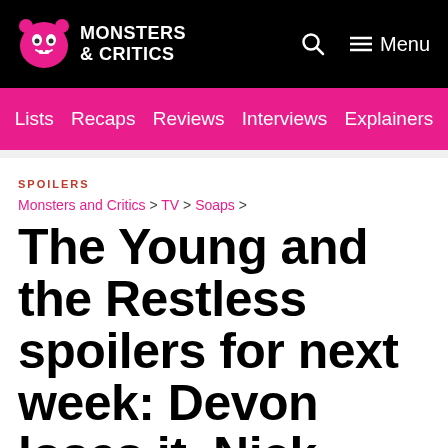Monsters & Critics — Menu
Lists | Recaps | Reviews | Interviews | Explainers
SPOILERS
Monsters and Critics > TV > Soaps >
The Young and the Restless spoilers for next week: Devon loses it, Nick drops a